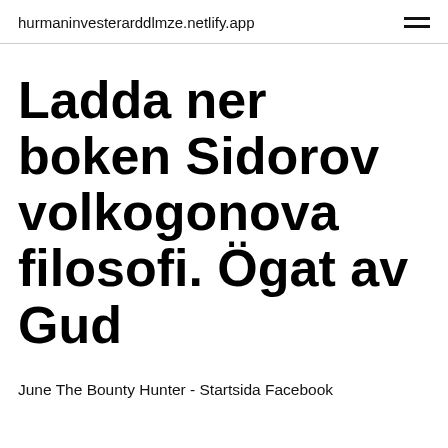hurmaninvesterarddlmze.netlify.app
Ladda ner boken Sidorov volkogonova filosofi. Ögat av Gud
June The Bounty Hunter - Startsida Facebook